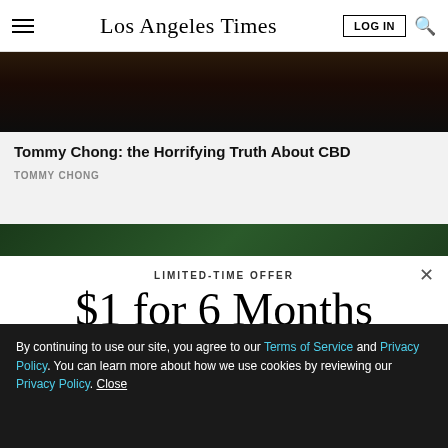Los Angeles Times
[Figure (photo): Dark portrait photo, partially visible at top of article card]
Tommy Chong: the Horrifying Truth About CBD
TOMMY CHONG
[Figure (photo): Green foliage/nature photo partially visible]
LIMITED-TIME OFFER
$1 for 6 Months
SUBSCRIBE NOW
By continuing to use our site, you agree to our Terms of Service and Privacy Policy. You can learn more about how we use cookies by reviewing our Privacy Policy. Close